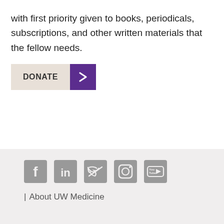with first priority given to books, periodicals, subscriptions, and other written materials that the fellow needs.
[Figure (other): DONATE button with purple arrow chevron]
[Figure (other): Social media icons row: Facebook, LinkedIn, Twitter, Instagram, YouTube]
| About UW Medicine